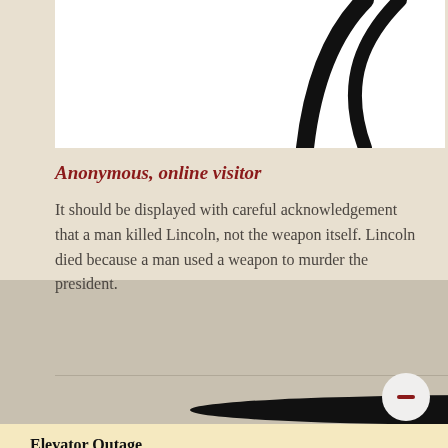[Figure (illustration): Partial view of a decorative black swoosh or calligraphic stroke on white background]
Anonymous, online visitor
It should be displayed with careful acknowledgement that a man killed Lincoln, not the weapon itself. Lincoln died because a man used a weapon to murder the president.
[Figure (other): Black oval shape at bottom of gray textured area, partially cropped]
Elevator Outage
Our museum elevator is out of service at the moment and under repair. If you require access to our elevator on your visit, please contact the Box Office to reschedule your visit or secure a refund.